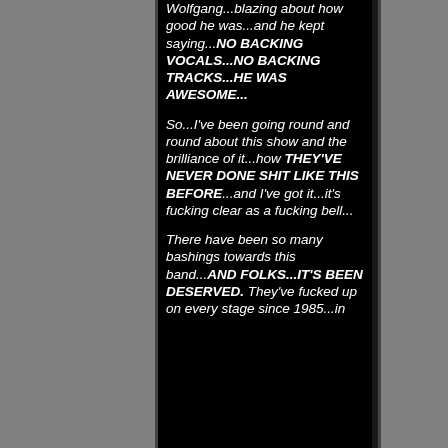Wolfgang...blazing about how good he was...and he kept saying...NO BACKING VOCALS...NO BACKING TRACKS...HE WAS AWESOME...

So...I've been going round and round about this show and the brilliance of it...how THEY'VE NEVER DONE SHIT LIKE THIS BEFORE...and I've got it...it's fucking clear as a fucking bell...

There have been so many bashings towards this band...AND FOLKS...IT'S BEEN DESERVED. They've fucked up on every stage since 1985...in